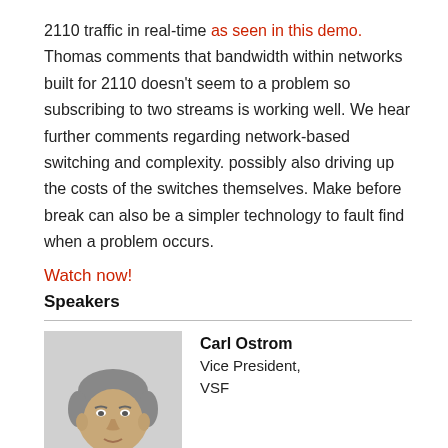2110 traffic in real-time as seen in this demo. Thomas comments that bandwidth within networks built for 2110 doesn't seem to a problem so subscribing to two streams is working well. We hear further comments regarding network-based switching and complexity. possibly also driving up the costs of the switches themselves. Make before break can also be a simpler technology to fault find when a problem occurs.
Watch now!
Speakers
[Figure (photo): Black and white headshot photo of Carl Ostrom, an older man in a light shirt.]
Carl Ostrom
Vice President,
VSF